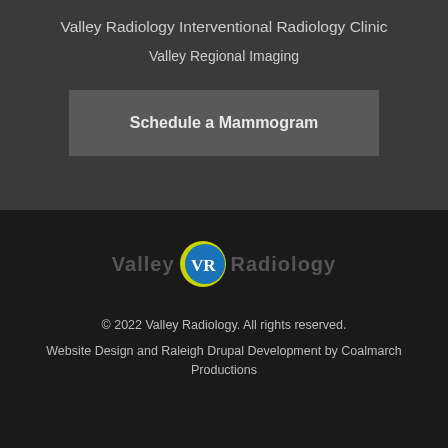Valley Radiology Interventional Radiology Clinic
Valley Regional Imaging
Schedule a Mammogram
[Figure (logo): Valley Radiology logo with VR initials in blue circle with yellow-green arc]
© 2022 Valley Radiology. All rights reserved.
Website Design and Raleigh Drupal Development by Coalmarch Productions